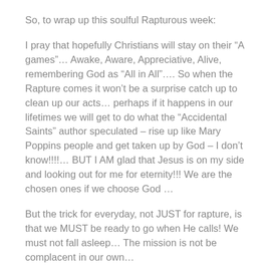So, to wrap up this soulful Rapturous week:
I pray that hopefully Christians will stay on their “A games”… Awake, Aware, Appreciative, Alive, remembering God as “All in All”…. So when the Rapture comes it won’t be a surprise catch up to clean up our acts… perhaps if it happens in our lifetimes we will get to do what the “Accidental Saints” author speculated – rise up like Mary Poppins people and get taken up by God – I don’t know!!!!... BUT I AM glad that Jesus is on my side and looking out for me for eternity!!! We are the chosen ones if we choose God …
But the trick for everyday, not JUST for rapture, is that we MUST be ready to go when He calls! We must not fall asleep… The mission is not be complacent in our own…